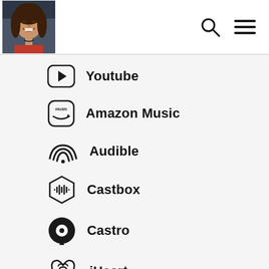[Figure (photo): Profile photo of a young woman smiling in the top-left header area]
Youtube
Amazon Music
Audible
Castbox
Castro
iHeart
Listen Notes